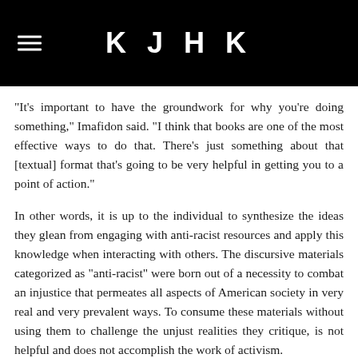KJHK
“It’s important to have the groundwork for why you’re doing something,” Imafidon said. “I think that books are one of the most effective ways to do that. There’s just something about that [textual] format that’s going to be very helpful in getting you to a point of action.”
In other words, it is up to the individual to synthesize the ideas they glean from engaging with anti-racist resources and apply this knowledge when interacting with others. The discursive materials categorized as “anti-racist” were born out of a necessity to combat an injustice that permeates all aspects of American society in very real and very prevalent ways. To consume these materials without using them to challenge the unjust realities they critique, is not helpful and does not accomplish the work of activism.
The Anti-Racist Reading List should be used as a tool to inform how you combat racial injustice, whether it be in conversation